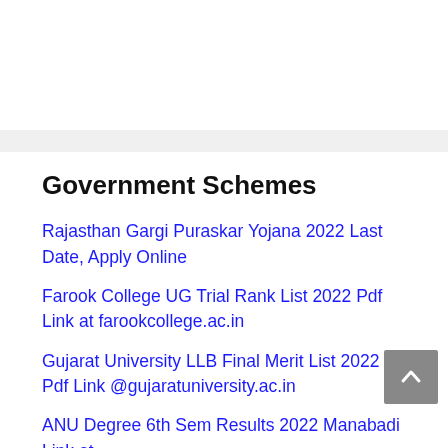Government Schemes
Rajasthan Gargi Puraskar Yojana 2022 Last Date, Apply Online
Farook College UG Trial Rank List 2022 Pdf Link at farookcollege.ac.in
Gujarat University LLB Final Merit List 2022 Pdf Link @gujaratuniversity.ac.in
ANU Degree 6th Sem Results 2022 Manabadi Link at